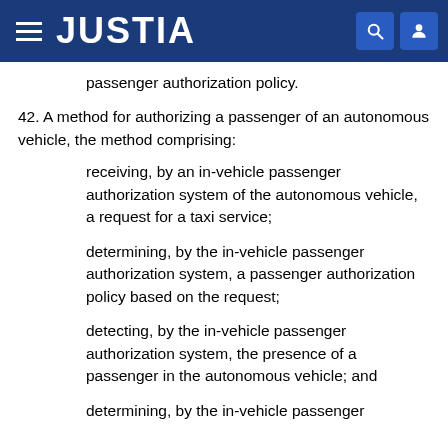JUSTIA
passenger authorization policy.
42. A method for authorizing a passenger of an autonomous vehicle, the method comprising:
receiving, by an in-vehicle passenger authorization system of the autonomous vehicle, a request for a taxi service;
determining, by the in-vehicle passenger authorization system, a passenger authorization policy based on the request;
detecting, by the in-vehicle passenger authorization system, the presence of a passenger in the autonomous vehicle; and
determining, by the in-vehicle passenger